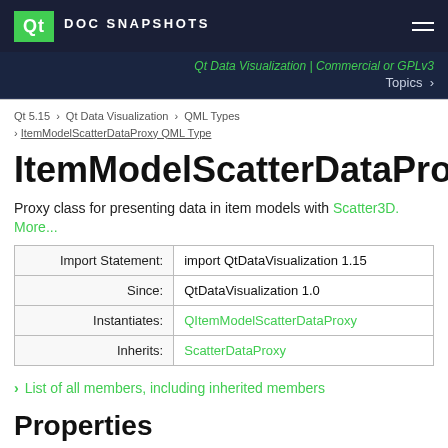Qt DOC SNAPSHOTS
Qt Data Visualization | Commercial or GPLv3  Topics >
Qt 5.15 > Qt Data Visualization > QML Types > ItemModelScatterDataProxy QML Type
ItemModelScatterDataProxy QML
Proxy class for presenting data in item models with Scatter3D. More...
|  |  |
| --- | --- |
| Import Statement: | import QtDataVisualization 1.15 |
| Since: | QtDataVisualization 1.0 |
| Instantiates: | QItemModelScatterDataProxy |
| Inherits: | ScatterDataProxy |
List of all members, including inherited members
Properties